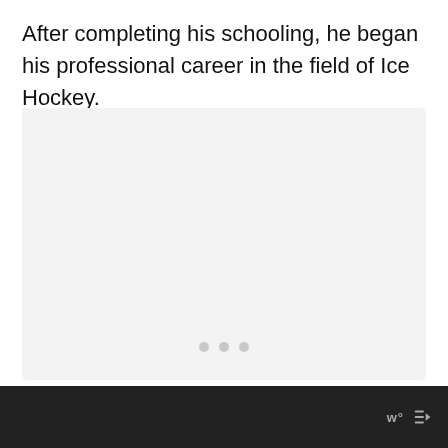After completing his schooling, he began his professional career in the field of Ice Hockey.
[Figure (other): A light gray placeholder image area with three gray dots centered near the bottom, indicating a loading or empty image carousel. A blue circular heart/like button is at the bottom right with a count of 1 below it.]
w° (wordmark) with share icon